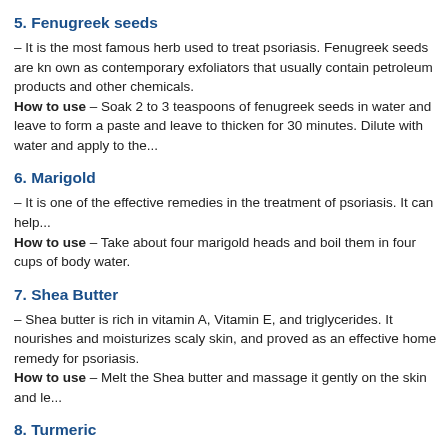5. Fenugreek seeds
– It is the most famous herb used to treat psoriasis. Fenugreek seeds are known as contemporary exfoliators that usually contain petroleum products and other chemicals. How to use – Soak 2 to 3 teaspoons of fenugreek seeds in water and leave to form a paste and leave to thicken for 30 minutes. Dilute with water and apply to the...
6. Marigold
– It is one of the effective remedies in the treatment of psoriasis. It can help... How to use – Take about four marigold heads and boil them in four cups of body water.
7. Shea Butter
– Shea butter is rich in vitamin A, Vitamin E, and triglycerides. It nourishes and moisturizes scaly skin, and proved as an effective home remedy for psoriasis. How to use – Melt the Shea butter and massage it gently on the skin and le...
8. Turmeric
– Turmeric is an aromatic spice that plays an important role in treating almost all diseases. It monitors cellular interactions to relieve the markers of the disease. It strengthens the body and nutrients present in it have the ability to control the rate of cell division and fight inflammation enzymes that protect against oxidative stress.